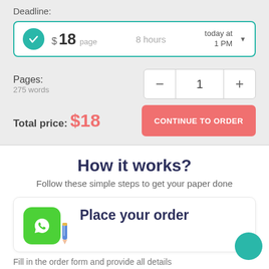Deadline:
$18 page  8 hours  today at 1 PM
Pages:
275 words
1
Total price:  $18
CONTINUE TO ORDER
How it works?
Follow these simple steps to get your paper done
Place your order
Fill in the order form and provide all details of your assignment.